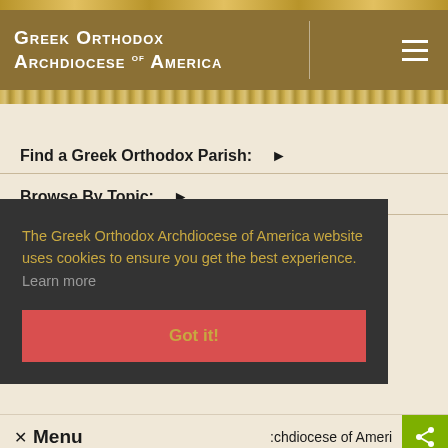Greek Orthodox Archdiocese of America
Find a Greek Orthodox Parish: ▶
Browse By Topic: ▶
The Greek Orthodox Archdiocese of America website uses cookies to ensure you get the best experience. Learn more
Got it!
✕ Menu  ·  rchdiocese of Ameri